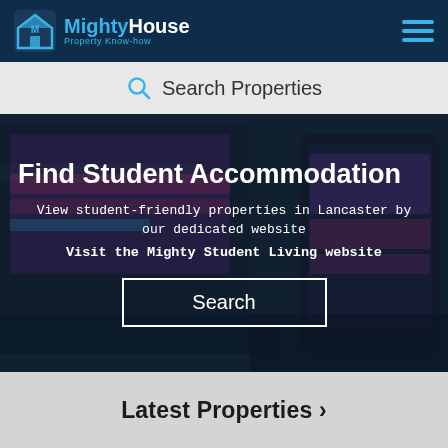MightyHouse Property Know-how
Search Properties
[Figure (screenshot): Hero banner with background photo of laptop and smartphone on desk, dark overlay, showing student accommodation content]
Find Student Accommodation
View student-friendly properties in Lancaster by our dedicated website
Visit the Mighty Student Living website
Search
Latest Properties ›